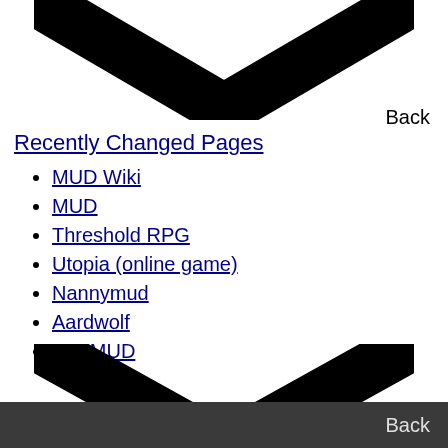[Figure (illustration): Large black chevron/checkmark symbol pointing downward at the top of the page]
Back
Recently Changed Pages
MUD Wiki
MUD
Threshold RPG
Utopia (online game)
Nannymud
Aardwolf
DartMUD
[Figure (illustration): Large black chevron/checkmark symbol pointing downward at the bottom of the page]
Back